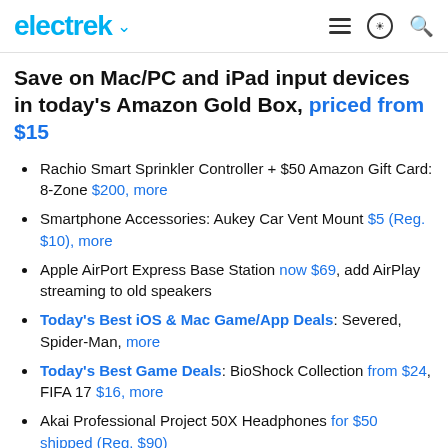electrek
Save on Mac/PC and iPad input devices in today's Amazon Gold Box, priced from $15
Rachio Smart Sprinkler Controller + $50 Amazon Gift Card: 8-Zone $200, more
Smartphone Accessories: Aukey Car Vent Mount $5 (Reg. $10), more
Apple AirPort Express Base Station now $69, add AirPlay streaming to old speakers
Today's Best iOS & Mac Game/App Deals: Severed, Spider-Man, more
Today's Best Game Deals: BioShock Collection from $24, FIFA 17 $16, more
Akai Professional Project 50X Headphones for $50 shipped (Reg. $90)
Huawei Watch Black Stainless Steel Smartwatch $220, open-box deals from $170
FitDesk v3.0 Desk Bike w/ Extension Kit for $250